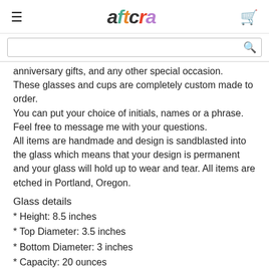aftcra
anniversary gifts, and any other special occasion.
These glasses and cups are completely custom made to order.
You can put your choice of initials, names or a phrase. Feel free to message me with your questions.
All items are handmade and design is sandblasted into the glass which means that your design is permanent and your glass will hold up to wear and tear. All items are etched in Portland, Oregon.
Glass details
* Height: 8.5 inches
* Top Diameter: 3.5 inches
* Bottom Diameter: 3 inches
* Capacity: 20 ounces
* Material: Lead Free Glass